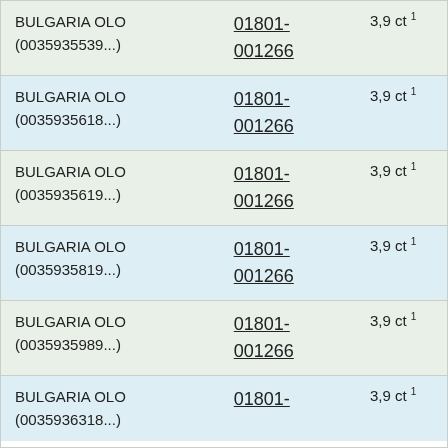| Destination | Number | Rate |
| --- | --- | --- |
| BULGARIA OLO (0035935539...) | 01801-001266 | 3,9 ct 1 |
| BULGARIA OLO (0035935618...) | 01801-001266 | 3,9 ct 1 |
| BULGARIA OLO (0035935619...) | 01801-001266 | 3,9 ct 1 |
| BULGARIA OLO (0035935819...) | 01801-001266 | 3,9 ct 1 |
| BULGARIA OLO (0035935989...) | 01801-001266 | 3,9 ct 1 |
| BULGARIA OLO (0035936318...) | 01801- | 3,9 ct 1 |